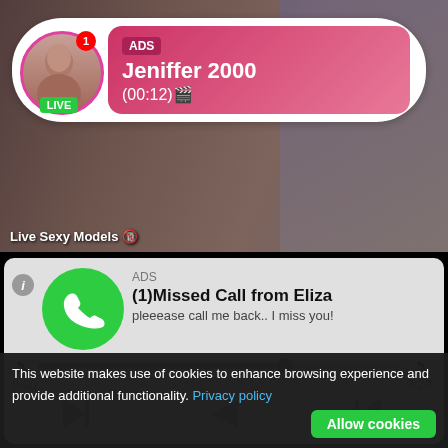[Figure (screenshot): Live cam ad banner with avatar of Jeniffer 2000, LIVE badge, pink gradient background, notification dot]
ADS
Jeniffer 2000
(00:12)
Live Sexy Models 🔞
[Figure (screenshot): Audio ad notification: (1)Missed Call from Eliza with green phone icon, audio player controls showing 0:00 / 3:23]
ADS
(1)Missed Call from Eliza
pleeease call me back.. I miss you!
0:00
3:23
[Figure (screenshot): Two thumbnail images of adult video content at bottom]
This website makes use of cookies to enhance browsing experience and provide additional functionality. Privacy policy
Allow cookies